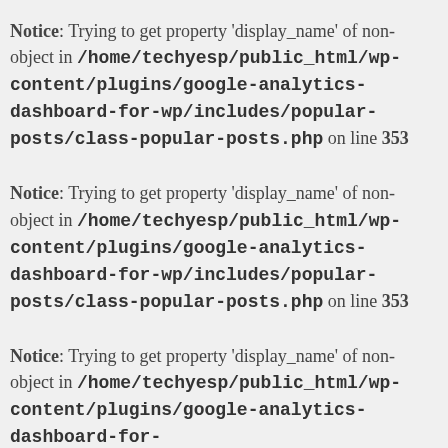Notice: Trying to get property 'display_name' of non-object in /home/techyesp/public_html/wp-content/plugins/google-analytics-dashboard-for-wp/includes/popular-posts/class-popular-posts.php on line 353
Notice: Trying to get property 'display_name' of non-object in /home/techyesp/public_html/wp-content/plugins/google-analytics-dashboard-for-wp/includes/popular-posts/class-popular-posts.php on line 353
Notice: Trying to get property 'display_name' of non-object in /home/techyesp/public_html/wp-content/plugins/google-analytics-dashboard-for-wp/includes/popular-posts/class-popular-posts.php on line ...